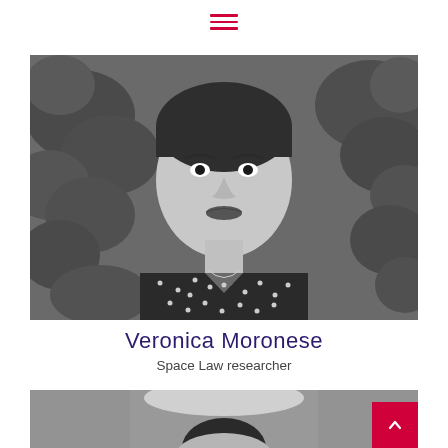[Figure (other): Hamburger/menu icon with three horizontal red lines, centered at top of page]
[Figure (photo): Black and white portrait photo of Veronica Moronese, a woman in a floral-patterned dark top, with leafy greenery visible in the background. She is wearing a necklace and looking directly at the camera.]
Veronica Moronese
Space Law researcher
[Figure (photo): Partial black and white photo of a person (head partially visible, blurred background suggesting an indoor corridor or hallway). A red back-to-top button with an upward chevron is overlaid in the bottom-right corner of this image.]